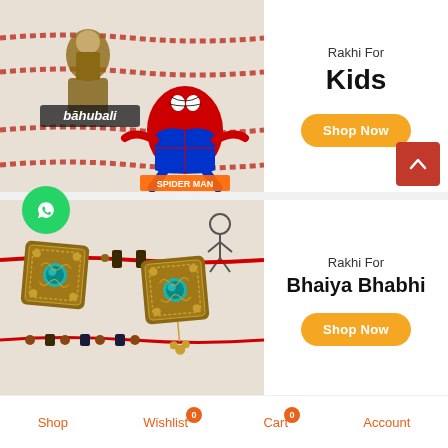[Figure (photo): Rakhi products for kids featuring Bahubali and Spider-Man character rakhis on red beaded threads against beige background]
Rakhi For
Kids
Shop Now
[Figure (photo): Bhaiya Bhabhi rakhi set with ornate golden square pendants and teal stone centers on red and beaded threads, with stick figure illustration]
Rakhi For
Bhaiya Bhabhi
Shop Now
Shop   Wishlist 0   Cart 0   Account